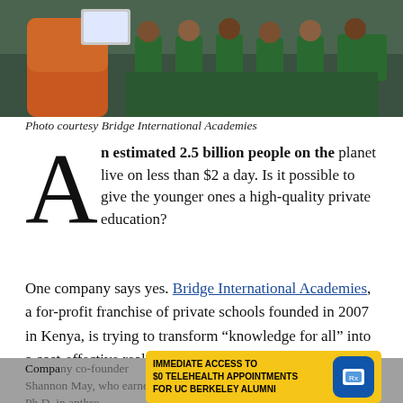[Figure (photo): A classroom scene with a teacher holding a tablet in front of students in green school uniforms, seated at desks.]
Photo courtesy Bridge International Academies
An estimated 2.5 billion people on the planet live on less than $2 a day. Is it possible to give the younger ones a high-quality private education?
One company says yes. Bridge International Academies, a for-profit franchise of private schools founded in 2007 in Kenya, is trying to transform “knowledge for all” into a cost-effective reality. Its answer: the “academy-in-a-box.”
Company co-founder Shannon May, who earned a Ph.D. in anthro... Instead... ridge
[Figure (infographic): Advertisement overlay: IMMEDIATE ACCESS TO $0 TELEHEALTH APPOINTMENTS FOR UC BERKELEY ALUMNI, with a blue telehealth icon badge on the right.]